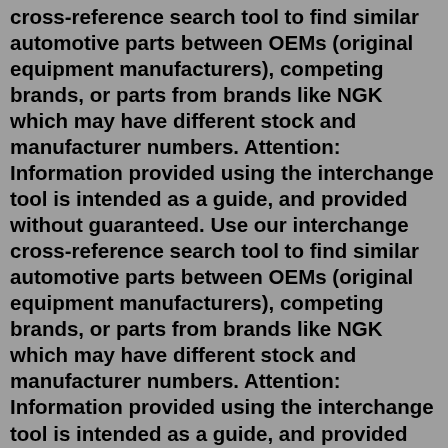cross-reference search tool to find similar automotive parts between OEMs (original equipment manufacturers), competing brands, or parts from brands like NGK which may have different stock and manufacturer numbers. Attention: Information provided using the interchange tool is intended as a guide, and provided without guaranteed. Use our interchange cross-reference search tool to find similar automotive parts between OEMs (original equipment manufacturers), competing brands, or parts from brands like NGK which may have different stock and manufacturer numbers. Attention: Information provided using the interchange tool is intended as a guide, and provided without guaranteed. We'll help you find the exact replacement part that you need. Simply answer these quick questions about the home improvement project you are working on, and you're on your way. Select your Room. Select your Project. Select your Product Type. Type or copy and paste an Excel column of part numbers (up to 25) into the field to the right. 1 number per row like this: 1234567890